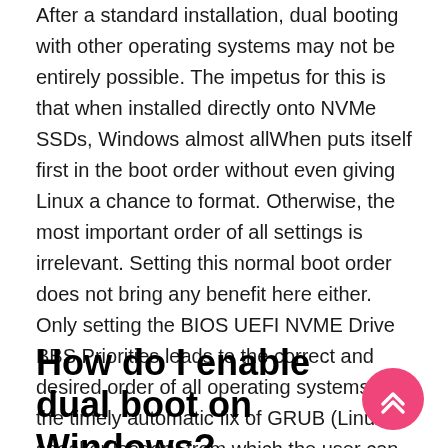After a standard installation, dual booting with other operating systems may not be entirely possible. The impetus for this is that when installed directly onto NVMe SSDs, Windows almost allWhen puts itself first in the boot order without even giving Linux a chance to format. Otherwise, the most important order of all settings is irrelevant. Setting this normal boot order does not bring any benefit here either. Only setting the BIOS UEFI NVME Drive BBS Priorities leads to the correct and desired order of all operating systems and the timely automatic fix of GRUB (Linux sneaker loader), from which the user can start building the two installed systems.
How do I enable dual boot on Windows?